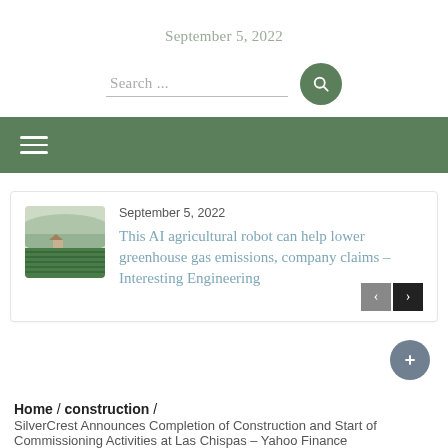September 5, 2022
Search ...
[Figure (screenshot): Green navigation bar with hamburger menu icon]
[Figure (photo): Thumbnail image of a green agricultural field with mountains in background]
September 5, 2022
This AI agricultural robot can help lower greenhouse gas emissions, company claims – Interesting Engineering
Home / construction / SilverCrest Announces Completion of Construction and Start of Commissioning Activities at Las Chispas – Yahoo Finance